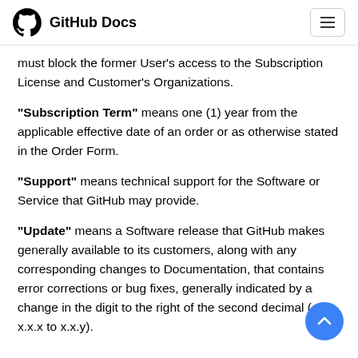GitHub Docs
must block the former User's access to the Subscription License and Customer's Organizations.
“Subscription Term” means one (1) year from the applicable effective date of an order or as otherwise stated in the Order Form.
“Support” means technical support for the Software or Service that GitHub may provide.
“Update” means a Software release that GitHub makes generally available to its customers, along with any corresponding changes to Documentation, that contains error corrections or bug fixes, generally indicated by a change in the digit to the right of the second decimal (e.g., x.x.x to x.x.y).